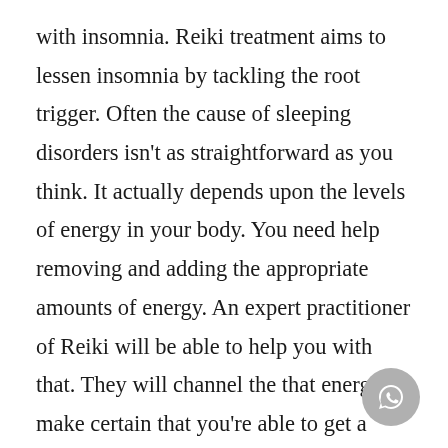with insomnia. Reiki treatment aims to lessen insomnia by tackling the root trigger. Often the cause of sleeping disorders isn't as straightforward as you think. It actually depends upon the levels of energy in your body. You need help removing and adding the appropriate amounts of energy. An expert practitioner of Reiki will be able to help you with that. They will channel the that energy to make certain that you're able to get a decent night's sleep.